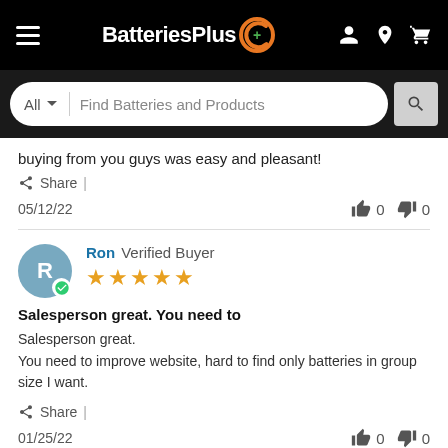[Figure (screenshot): BatteriesPlus website header with hamburger menu, logo, search icons, and cart]
[Figure (screenshot): Search bar with All dropdown and Find Batteries and Products placeholder]
buying from you guys was easy and pleasant!
Share |
05/12/22  👍 0  👎 0
Ron Verified Buyer ★★★★★
Salesperson great. You need to
Salesperson great.
You need to improve website, hard to find only batteries in group size I want.
Share |
01/25/22  👍 0  👎 0